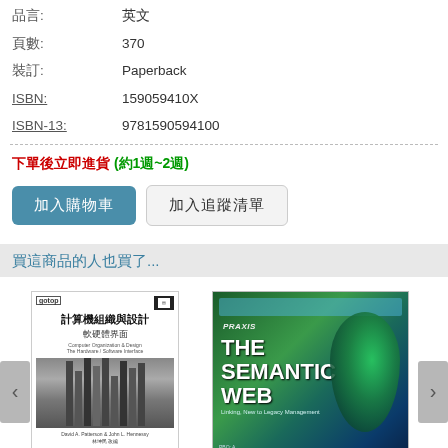| 品言: | 英文 |
| 頁數: | 370 |
| 裝訂: | Paperback |
| ISBN: | 159059410X |
| ISBN-13: | 9781590594100 |
下單後立即進貨 (約1週~2週)
加入購物車  加入追蹤清單
買這商品的人也買了...
[Figure (photo): Book cover: 計算機組織與設計 軟硬體界面]
$600 $578
[Figure (photo): Book cover: THE SEMANTIC WEB]
$1,600 $1,568